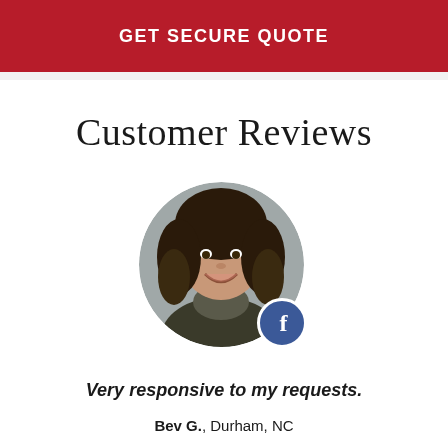GET SECURE QUOTE
Customer Reviews
[Figure (photo): Circular profile photo of a woman with curly dark hair, smiling, with a Facebook badge icon in the lower right of the circle]
Very responsive to my requests.
Bev G., Durham, NC